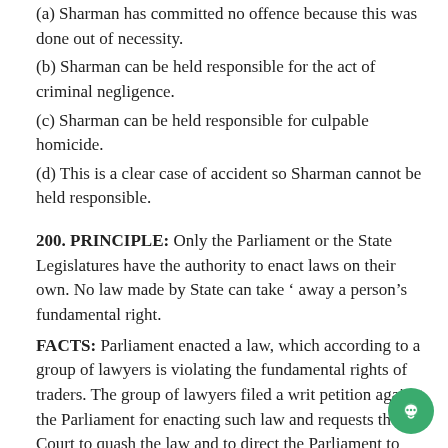(a) Sharman has committed no offence because this was done out of necessity.
(b) Sharman can be held responsible for the act of criminal negligence.
(c) Sharman can be held responsible for culpable homicide.
(d) This is a clear case of accident so Sharman cannot be held responsible.
200. PRINCIPLE: Only the Parliament or the State Legislatures have the authority to enact laws on their own. No law made by State can take ‘ away a person’s fundamental right.
FACTS: Parliament enacted a law, which according to a group of lawyers is violating the fundamental rights of traders. The group of lawyers filed a writ petition against the Parliament for enacting such law and requests the Court to quash the law and to direct the Parliament to